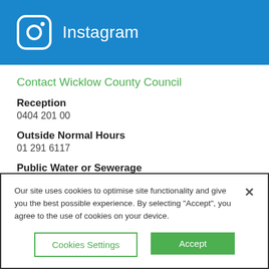[Figure (logo): Instagram logo icon (white camera icon on blue background) followed by the text 'Instagram' in white]
Contact Wicklow County Council
Reception
0404 201 00
Outside Normal Hours
01 291 6117
Public Water or Sewerage
1850 278 278
Our site uses cookies to optimise site functionality and give you the best possible experience. By selecting "Accept", you agree to the use of cookies on your device.
Cookies Settings | Accept